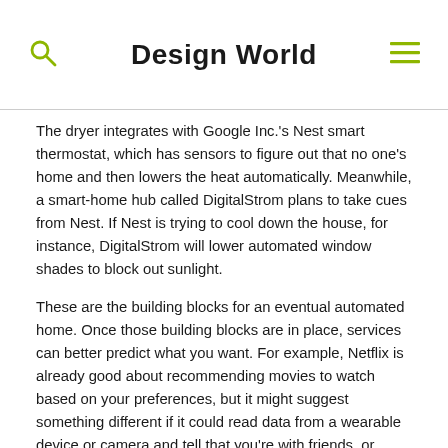Design World
The dryer integrates with Google Inc.'s Nest smart thermostat, which has sensors to figure out that no one's home and then lowers the heat automatically. Meanwhile, a smart-home hub called DigitalStrom plans to take cues from Nest. If Nest is trying to cool down the house, for instance, DigitalStrom will lower automated window shades to block out sunlight.
These are the building blocks for an eventual automated home. Once those building blocks are in place, services can better predict what you want. For example, Netflix is already good about recommending movies to watch based on your preferences, but it might suggest something different if it could read data from a wearable device or camera and tell that you're with friends, or stressed out, says Shawn Dubravac, senior director of research with the Consumer Electronics Association.
As we get closer to being able to live like the Jetsons,